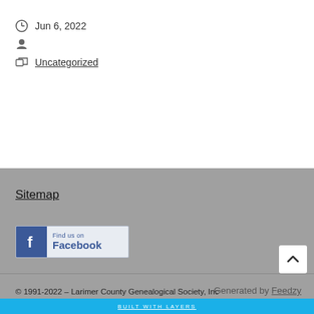Jun 6, 2022
Uncategorized
Sitemap
[Figure (logo): Find us on Facebook badge with Facebook logo icon]
© 1991-2022 - Larimer County Genealogical Society, Inc
Generated by Feedzy
BUILT WITH LAYERS